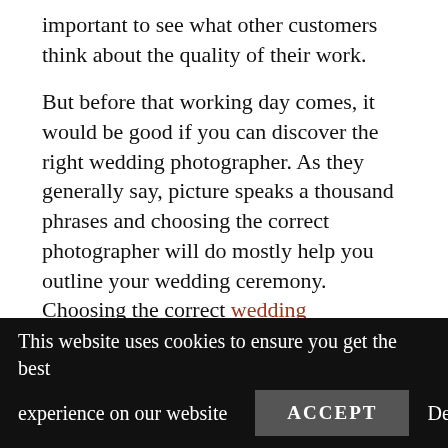important to see what other customers think about the quality of their work.
But before that working day comes, it would be good if you can discover the right wedding photographer. As they generally say, picture speaks a thousand phrases and choosing the correct photographer will do mostly help you outline your wedding ceremony. Choosing the correct wedding photography services singapore can be one of the greatest decisions you will have to decide. As most know photography consists of a broad variety of attributes, tastes, and designs.
This website uses cookies to ensure you get the best experience on our website